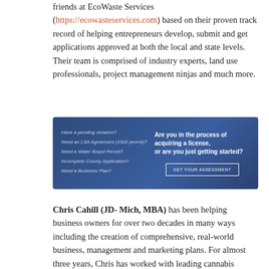friends at EcoWaste Services (https://ecowasteservices.com) based on their proven track record of helping entrepreneurs develop, submit and get applications approved at both the local and state levels. Their team is comprised of industry experts, land use professionals, project management ninjas and much more.
[Figure (infographic): Dark blue advertisement banner with two columns. Left side lists: Have a pending violation? Need an LSA Agreement (1602 permit)? Need a Water Board Permit? Incomplete County Application? Need a Business Plan? Right side reads: Are you in the process of acquiring a license, or are you just getting started? with a GET YOUR ASSESSMENT button.]
Chris Cahill (JD- Mich, MBA) has been helping business owners for over two decades in many ways including the creation of comprehensive, real-world business, management and marketing plans. For almost three years, Chris has worked with leading cannabis